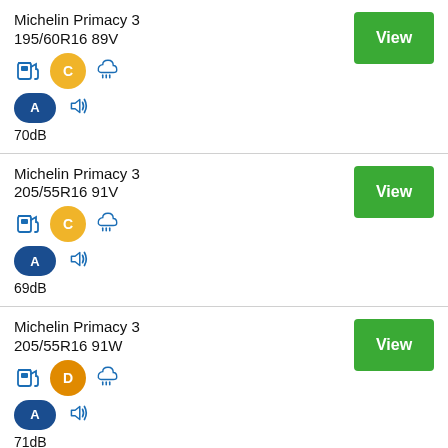Michelin Primacy 3 195/60R16 89V — Fuel: C, Rain: rated, Noise: A 70dB
Michelin Primacy 3 205/55R16 91V — Fuel: C, Rain: rated, Noise: A 69dB
Michelin Primacy 3 205/55R16 91W — Fuel: D, Rain: rated, Noise: A 71dB
Michelin Primacy 3